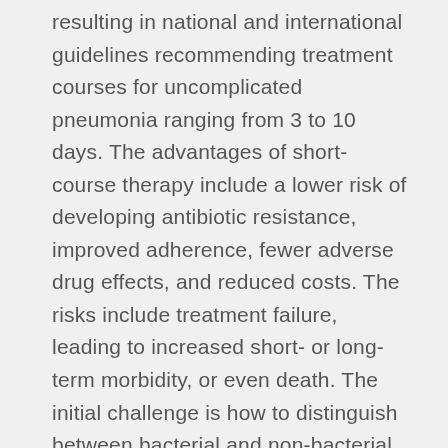resulting in national and international guidelines recommending treatment courses for uncomplicated pneumonia ranging from 3 to 10 days. The advantages of short-course therapy include a lower risk of developing antibiotic resistance, improved adherence, fewer adverse drug effects, and reduced costs. The risks include treatment failure, leading to increased short- or long-term morbidity, or even death. The initial challenge is how to distinguish between bacterial and non-bacterial causes of pneumonia and then to undertake adequately powered randomised-controlled trials of varying antibiotic treatment durations in children who are most likely to have bacterial pneumonia. Meanwhile, healthcare